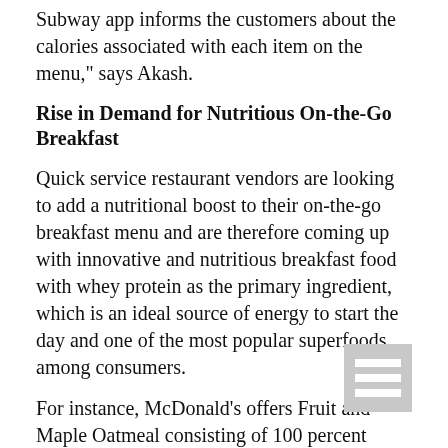Subway app informs the customers about the calories associated with each item on the menu," says Akash.
Rise in Demand for Nutritious On-the-Go Breakfast
Quick service restaurant vendors are looking to add a nutritional boost to their on-the-go breakfast menu and are therefore coming up with innovative and nutritious breakfast food with whey protein as the primary ingredient, which is an ideal source of energy to start the day and one of the most popular superfoods among consumers.
For instance, McDonald's offers Fruit and Maple Oatmeal consisting of 100 percent natural whole-grain oats, along with cream, red and green apples, cranberries, and raisins in its breakfast menu.
[Figure (other): Menu/hamburger icon — three horizontal white lines on a grey square background]
Be Crafty and Local